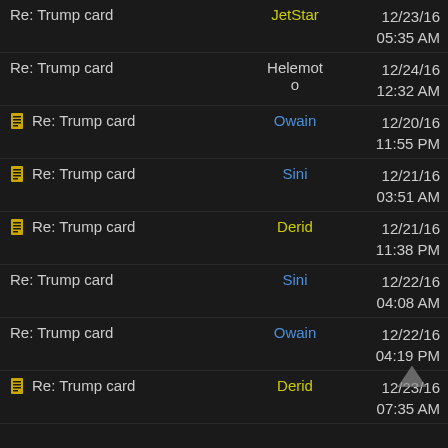Re: Trump card | JetStar | 12/23/16 05:35 AM
Re: Trump card | Helemoto | 12/24/16 12:32 AM
Re: Trump card | Owain | 12/20/16 11:55 PM
Re: Trump card | Sini | 12/21/16 03:51 AM
Re: Trump card | Derid | 12/21/16 11:38 PM
Re: Trump card | Sini | 12/22/16 04:08 AM
Re: Trump card | Owain | 12/22/16 04:19 PM
Re: Trump card | Derid | 12/23/16 07:35 AM